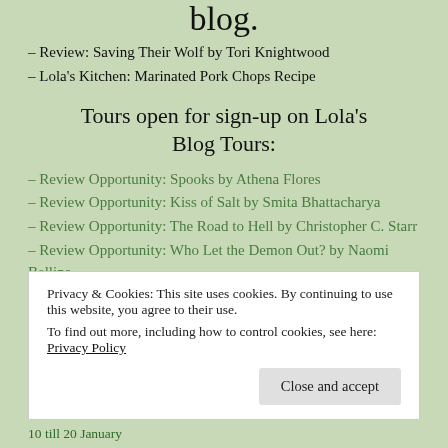blog.
– Review: Saving Their Wolf by Tori Knightwood
– Lola's Kitchen: Marinated Pork Chops Recipe
Tours open for sign-up on Lola's Blog Tours:
– Review Opportunity: Spooks by Athena Flores
– Review Opportunity: Kiss of Salt by Smita Bhattacharya
– Review Opportunity: The Road to Hell by Christopher C. Starr
– Review Opportunity: Who Let the Demon Out? by Naomi Bellina
Privacy & Cookies: This site uses cookies. By continuing to use this website, you agree to their use.
To find out more, including how to control cookies, see here: Privacy Policy
Close and accept
10 till 20 January